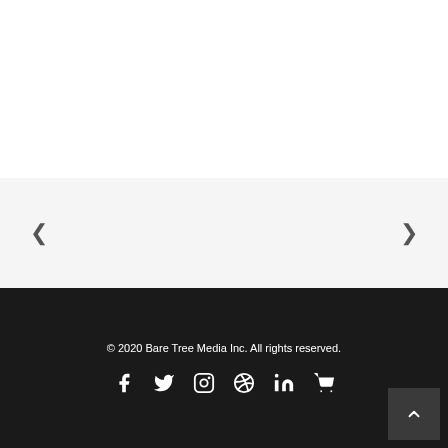[Figure (other): White empty top section of webpage]
[Figure (other): Light gray section with left and right navigation arrows (carousel)]
© 2020 Bare Tree Media Inc. All rights reserved.
[Figure (other): Social media icons row: Facebook, Twitter, Instagram, Dribbble, LinkedIn, Shopping cart]
[Figure (other): Back to top button with upward chevron arrow in bottom right corner]